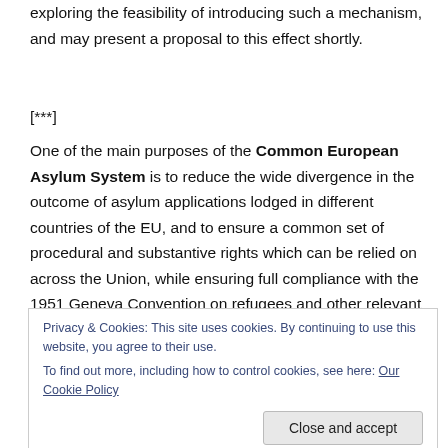exploring the feasibility of introducing such a mechanism, and may present a proposal to this effect shortly.
[***]
One of the main purposes of the Common European Asylum System is to reduce the wide divergence in the outcome of asylum applications lodged in different countries of the EU, and to ensure a common set of procedural and substantive rights which can be relied on across the Union, while ensuring full compliance with the 1951 Geneva Convention on refugees and other relevant
Privacy & Cookies: This site uses cookies. By continuing to use this website, you agree to their use.
To find out more, including how to control cookies, see here: Our Cookie Policy
90% of applicants registered in the EU17